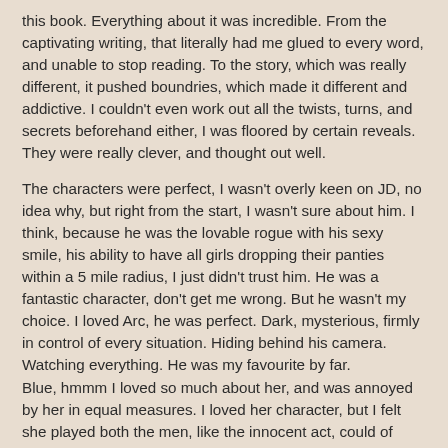this book. Everything about it was incredible. From the captivating writing, that literally had me glued to every word, and unable to stop reading. To the story, which was really different, it pushed boundries, which made it different and addictive. I couldn't even work out all the twists, turns, and secrets beforehand either, I was floored by certain reveals. They were really clever, and thought out well.
The characters were perfect, I wasn't overly keen on JD, no idea why, but right from the start, I wasn't sure about him. I think, because he was the lovable rogue with his sexy smile, his ability to have all girls dropping their panties within a 5 mile radius, I just didn't trust him. He was a fantastic character, don't get me wrong. But he wasn't my choice. I loved Arc, he was perfect. Dark, mysterious, firmly in control of every situation. Hiding behind his camera. Watching everything. He was my favourite by far.
Blue, hmmm I loved so much about her, and was annoyed by her in equal measures. I loved her character, but I felt she played both the men, like the innocent act, could of been just that, an innocent 'act'. But, she was still fantastic to read as a main character.